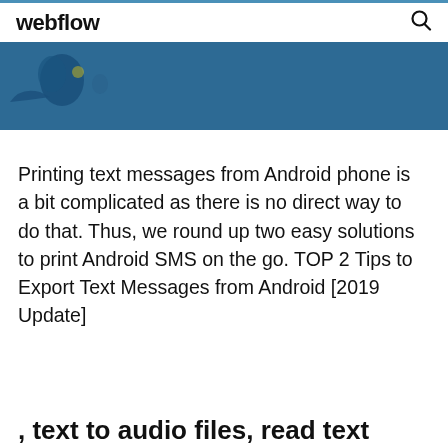webflow
[Figure (illustration): Dark blue banner with partial illustration of a figure/character on the left side]
Printing text messages from Android phone is a bit complicated as there is no direct way to do that. Thus, we round up two easy solutions to print Android SMS on the go. TOP 2 Tips to Export Text Messages from Android [2019 Update]
, text to audio files, read text